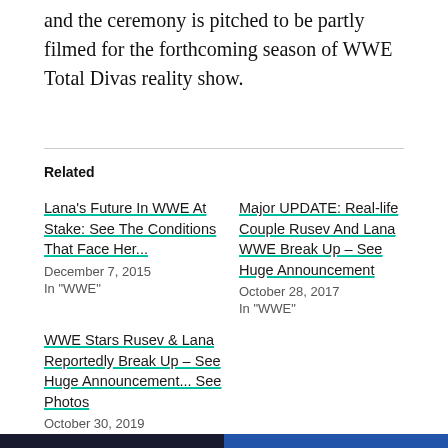and the ceremony is pitched to be partly filmed for the forthcoming season of WWE Total Divas reality show.
Related
Lana's Future In WWE At Stake: See The Conditions That Face Her...
December 7, 2015
In "WWE"
Major UPDATE: Real-life Couple Rusev And Lana WWE Break Up – See Huge Announcement
October 28, 2017
In "WWE"
WWE Stars Rusev & Lana Reportedly Break Up – See Huge Announcement... See Photos
October 30, 2019
In "News Plus"